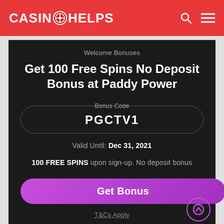CASINO HELPS
Welcome Bonuses
Get 100 Free Spins No Deposit Bonus at Paddy Power
Bonus Code
PGCTV1
Valid Until: Dec 31, 2021
100 FREE SPINS upon sign-up. No deposit bonus
Get Bonus
T&Cs Apply